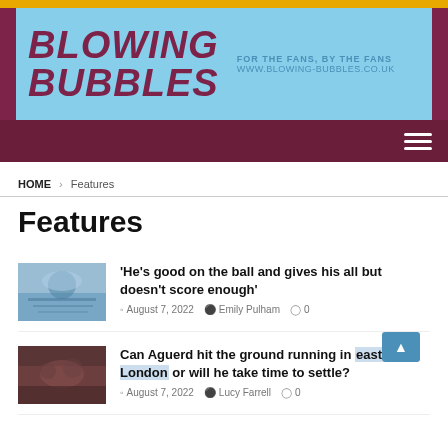BLOWING BUBBLES — FOR THE FANS, BY THE FANS — WWW.BLOWING-BUBBLES.CO.UK
Features
HOME > Features
'He's good on the ball and gives his all but doesn't score enough'
August 7, 2022  Emily Pulham  0
Can Aguerd hit the ground running in east London or will he take time to settle?
August 7, 2022  Lucy Farrell  0